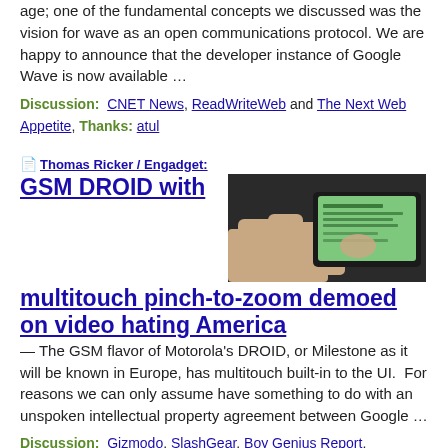age; one of the fundamental concepts we discussed was the vision for wave as an open communications protocol. We are happy to announce that the developer instance of Google Wave is now available …
Discussion:  CNET News, ReadWriteWeb and The Next Web Appetite, Thanks: atul
📄 Thomas Ricker / Engadget: GSM DROID with multitouch pinch-to-zoom demoed on video hating America — The GSM flavor of Motorola's DROID, or Milestone as it will be known in Europe, has multitouch built-in to the UI.  For reasons we can only assume have something to do with an unspoken intellectual property agreement between Google …
[Figure (photo): Thumbnail photo of a hand touching a smartphone screen, showing a green-tinted display]
Discussion:  Gizmodo, SlashGear, Boy Genius Report, SlashPhone, jkOnTheRun, I4U News, TechVi, MobileBurn.com, QStatic blogs and